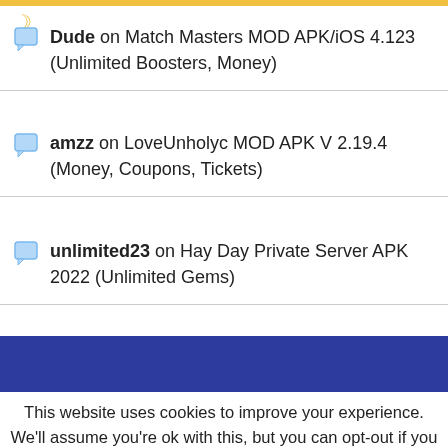Dude on Match Masters MOD APK/iOS 4.123 (Unlimited Boosters, Money)
amzz on LoveUnholyc MOD APK V 2.19.4 (Money, Coupons, Tickets)
unlimited23 on Hay Day Private Server APK 2022 (Unlimited Gems)
This website uses cookies to improve your experience. We'll assume you're ok with this, but you can opt-out if you wish. Cookie settings ACCEPT